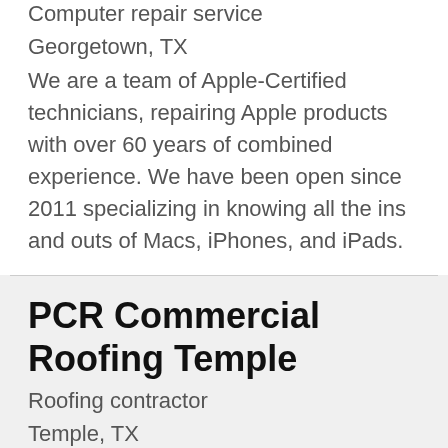Computer repair service
Georgetown, TX
We are a team of Apple-Certified technicians, repairing Apple products with over 60 years of combined experience. We have been open since 2011 specializing in knowing all the ins and outs of Macs, iPhones, and iPads.
PCR Commercial Roofing Temple
Roofing contractor
Temple, TX
Specializing in Commercial Metal Roofing, Commercial Roof Maintenance, Repair